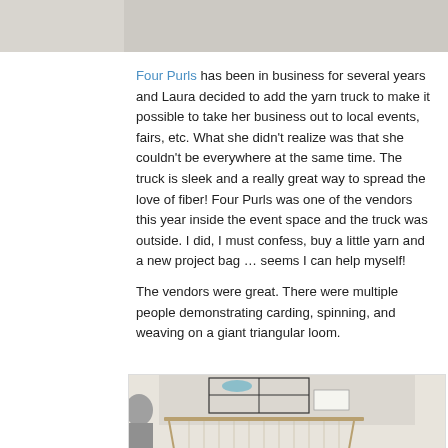[Figure (photo): Top portion of a photo, light gray/neutral background, partially visible at the top of the page]
Four Purls has been in business for several years and Laura decided to add the yarn truck to make it possible to take her business out to local events, fairs, etc. What she didn’t realize was that she couldn’t be everywhere at the same time. The truck is sleek and a really great way to spread the love of fiber! Four Purls was one of the vendors this year inside the event space and the truck was outside. I did, I must confess, buy a little yarn and a new project bag … seems I can help myself!
The vendors were great. There were multiple people demonstrating carding, spinning, and weaving on a giant triangular loom.
[Figure (photo): Indoor craft/fiber arts event showing a wire grid display rack with yarn, and a large triangular or rectangular loom in the foreground, people and vendor tables in the background]